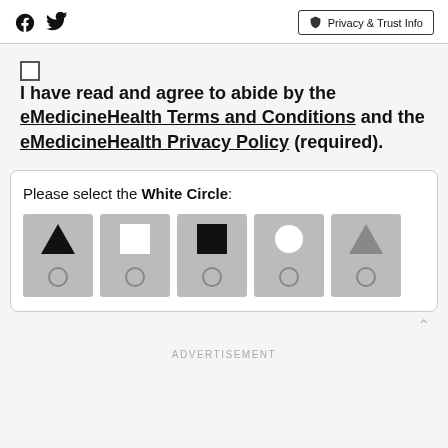Facebook Twitter | Privacy & Trust Info
I have read and agree to abide by the eMedicineHealth Terms and Conditions and the eMedicineHealth Privacy Policy (required).
[Figure (other): CAPTCHA widget asking user to select the White Circle. Contains 5 gray tiles each showing two shapes: 1) black triangle + white outline circle, 2) white square + white outline circle, 3) black square + white outline circle, 4) white circle + white outline circle, 5) gray triangle + white outline circle.]
ADVERTISEMENT